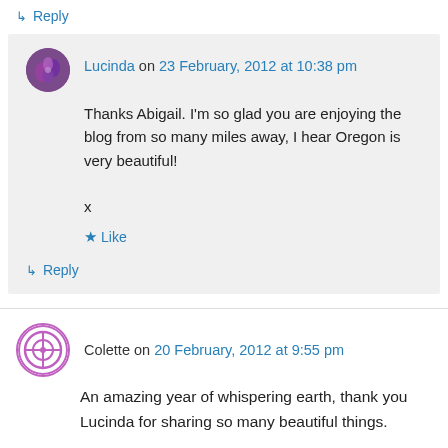↳ Reply
Lucinda on 23 February, 2012 at 10:38 pm
Thanks Abigail. I'm so glad you are enjoying the blog from so many miles away, I hear Oregon is very beautiful!

x
★ Like
↳ Reply
Colette on 20 February, 2012 at 9:55 pm
An amazing year of whispering earth, thank you Lucinda for sharing so many beautiful things.